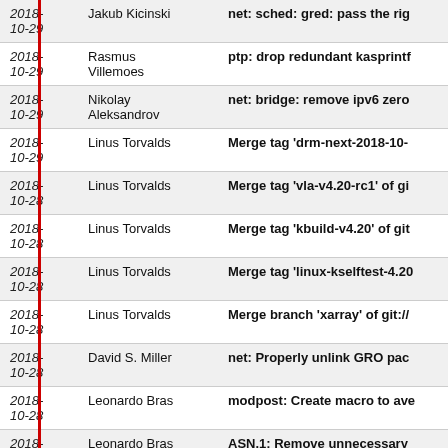| Date | Author | Commit Message |
| --- | --- | --- |
| 2018-10-29 | Jakub Kicinski | net: sched: gred: pass the rig |
| 2018-10-29 | Rasmus Villemoes | ptp: drop redundant kasprintf |
| 2018-10-29 | Nikolay Aleksandrov | net: bridge: remove ipv6 zero |
| 2018-10-29 | Linus Torvalds | Merge tag 'drm-next-2018-10- |
| 2018-10-28 | Linus Torvalds | Merge tag 'vla-v4.20-rc1' of gi |
| 2018-10-28 | Linus Torvalds | Merge tag 'kbuild-v4.20' of git |
| 2018-10-28 | Linus Torvalds | Merge tag 'linux-kselftest-4.20 |
| 2018-10-28 | Linus Torvalds | Merge branch 'xarray' of git:// |
| 2018-10-28 | David S. Miller | net: Properly unlink GRO pac |
| 2018-10-28 | Leonardo Bras | modpost: Create macro to ave |
| 2018-10-28 | Leonardo Bras | ASN.1: Remove unnecessary |